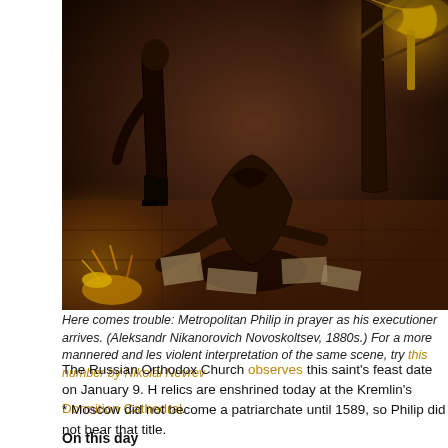[Figure (illustration): A dark oil painting depicting Metropolitan Philip in prayer as his executioner arrives, by Aleksandr Nikanorovich Novoskoltsev, 1880s. The scene shows a kneeling robed figure being approached from behind by a standing figure holding a golden implement, with dramatic lighting and scattered papers on the floor.]
Here comes trouble: Metropolitan Philip in prayer as his executioner arrives. (Aleksandr Nikanorovich Novoskoltsev, 1880s.) For a more mannered and less violent interpretation of the same scene, try this number by Nikolai Nevrev
The Russian Orthodox Church observes this saint's feast date on January 9. His relics are enshrined today at the Kremlin's Dormition Cathedral.
* Moscow did not become a patriarchate until 1589, so Philip did not bear that title.
On this day